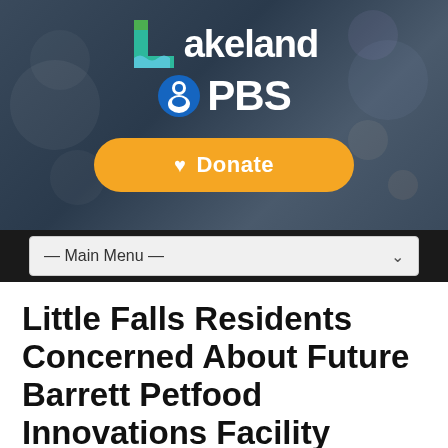[Figure (logo): Lakeland PBS logo with stylized L icon and PBS head icon on dark background with bokeh circles]
[Figure (other): Orange rounded Donate button with heart icon]
[Figure (other): Main Menu navigation dropdown bar on black background]
Little Falls Residents Concerned About Future Barrett Petfood Innovations Facility
Chaz Mootz — Jul. 3 2019